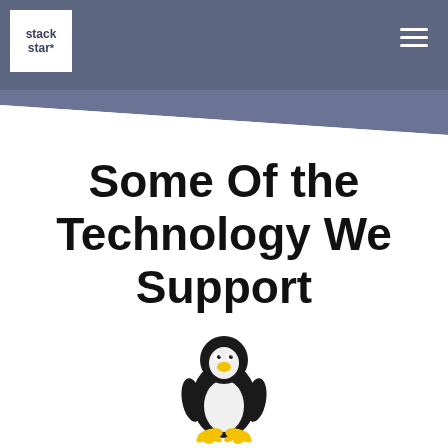stack star*
Some Of the Technology We Support
[Figure (illustration): Linux Tux penguin mascot logo — a small black and white penguin with yellow beak and feet, sitting upright]